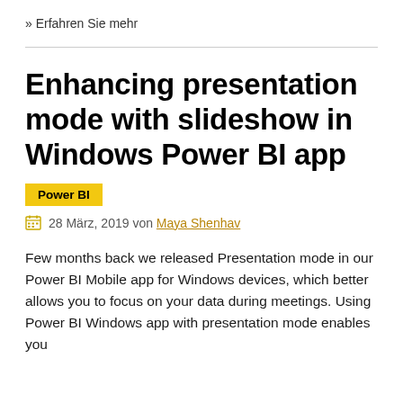» Erfahren Sie mehr
Enhancing presentation mode with slideshow in Windows Power BI app
Power BI
28 März, 2019 von Maya Shenhav
Few months back we released Presentation mode in our Power BI Mobile app for Windows devices, which better allows you to focus on your data during meetings. Using Power BI Windows app with presentation mode enables you